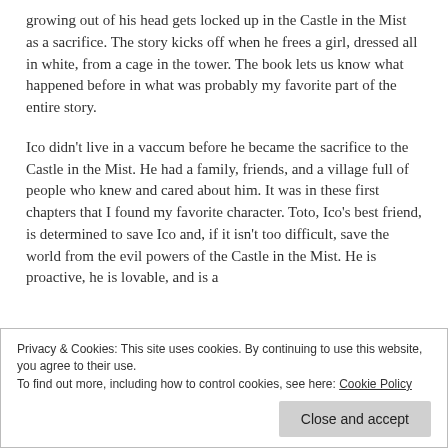growing out of his head gets locked up in the Castle in the Mist as a sacrifice. The story kicks off when he frees a girl, dressed all in white, from a cage in the tower. The book lets us know what happened before in what was probably my favorite part of the entire story.
Ico didn't live in a vaccum before he became the sacrifice to the Castle in the Mist. He had a family, friends, and a village full of people who knew and cared about him. It was in these first chapters that I found my favorite character. Toto, Ico's best friend, is determined to save Ico and, if it isn't too difficult, save the world from the evil powers of the Castle in the Mist. He is proactive, he is lovable, and is a
Privacy & Cookies: This site uses cookies. By continuing to use this website, you agree to their use.
To find out more, including how to control cookies, see here: Cookie Policy
Close and accept